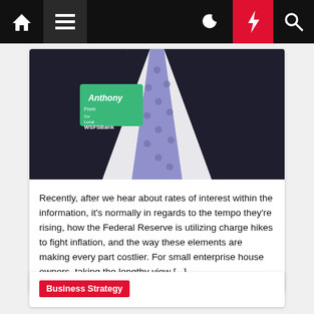Navigation bar with home, menu, moon, bolt, search icons
[Figure (photo): Close-up photo of a person in a dark suit with purple/blue polka-dot tie and a green name badge reading 'Anthony WSFS Bank']
Recently, after we hear about rates of interest within the information, it's normally in regards to the tempo they're rising, how the Federal Reserve is utilizing charge hikes to fight inflation, and the way these elements are making every part costlier. For small enterprise house owners, taking the lengthy view […]
Business Strategy